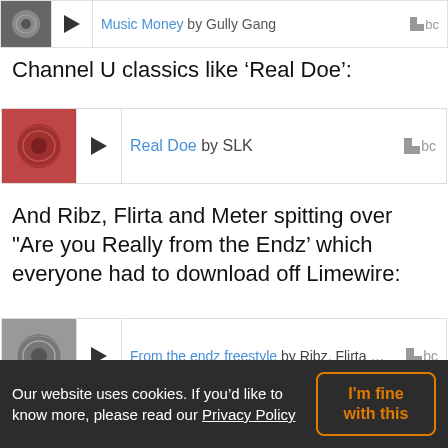[Figure (other): Music player row showing Music Money by Gully Gang, partially cut off at top]
Channel U classics like 'Real Doe':
[Figure (other): Music player row: Real Doe by SLK with album art thumbnail, play button, and Bandcamp logo]
And Ribz, Flirta and Meter spitting over "Are you Really from the Endz' which everyone had to download off Limewire:
[Figure (other): Music player row: From the endz freestyle by Ribz, Flirta D & ... with album art thumbnail, play button, and Bandcamp logo]
SLK's status in North West London is unmatched, along with Bashy, they were our champions in Grime. And even back in those days, they knew that East London was the dominating area and they had to show that North West had to represent. So maybe it is time North West got together and put together a
Our website uses cookies. If you'd like to know more, please read our Privacy Policy   I'm fine with this